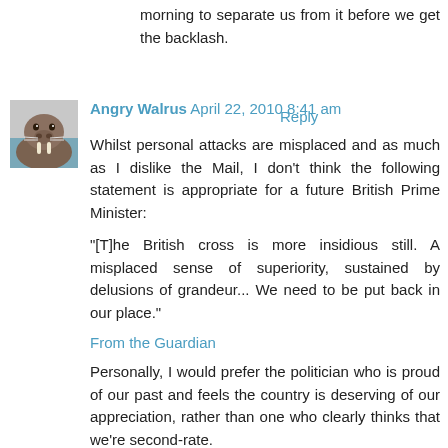morning to separate us from it before we get the backlash.
Reply
Angry Walrus  April 22, 2010 8:41 am
[Figure (photo): Avatar photo of a walrus]
Whilst personal attacks are misplaced and as much as I dislike the Mail, I don't think the following statement is appropriate for a future British Prime Minister:
"[T]he British cross is more insidious still. A misplaced sense of superiority, sustained by delusions of grandeur... We need to be put back in our place."
From the Guardian
Personally, I would prefer the politician who is proud of our past and feels the country is deserving of our appreciation, rather than one who clearly thinks that we're second-rate.
AW
Reply